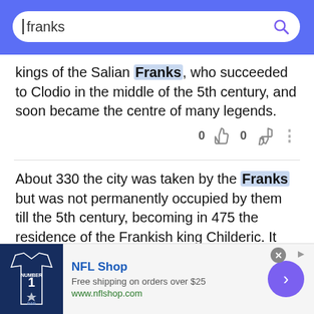[Figure (screenshot): Search bar with query 'franks' on blue background]
kings of the Salian Franks, who succeeded to Clodio in the middle of the 5th century, and soon became the centre of many legends.
About 330 the city was taken by the Franks but was not permanently occupied by them till the 5th century, becoming in 475 the residence of the Frankish king Childeric. It was the seat of a pagus or gau, and counts of Cologne are mentioned in the 9th century.
[Figure (screenshot): Advertisement for NFL Shop: Free shipping on orders over $25, www.nflshop.com]